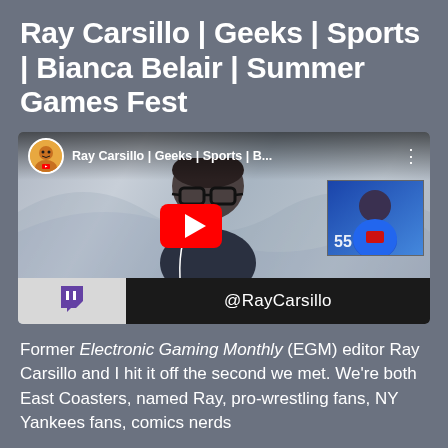Ray Carsillo | Geeks | Sports | Bianca Belair | Summer Games Fest
[Figure (screenshot): YouTube video thumbnail showing a man with glasses and beard in a video call setup with a Twitch logo and @RayCarsillo handle displayed at the bottom. A picture-in-picture shows another person. The video title reads 'Ray Carsillo | Geeks | Sports | B...']
Former Electronic Gaming Monthly (EGM) editor Ray Carsillo and I hit it off the second we met. We're both East Coasters, named Ray, pro-wrestling fans, NY Yankees fans, comics nerds...